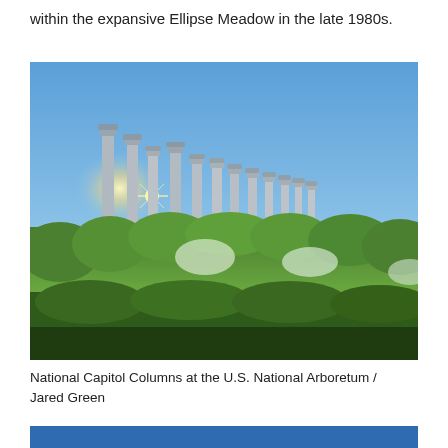within the expansive Ellipse Meadow in the late 1980s.
[Figure (photo): Photograph of National Capitol Columns at the U.S. National Arboretum — tall classical stone columns rising above lush green meadow vegetation, with sunlight visible between the columns and a clear blue sky background. Photo credit: Jared Green.]
National Capitol Columns at the U.S. National Arboretum / Jared Green